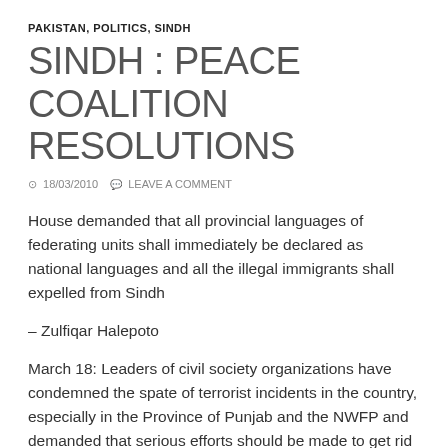PAKISTAN, POLITICS, SINDH
SINDH : PEACE COALITION RESOLUTIONS
18/03/2010   LEAVE A COMMENT
House demanded that all provincial languages of federating units shall immediately be declared as national languages and all the illegal immigrants shall expelled from Sindh
– Zulfiqar Halepoto
March 18: Leaders of civil society organizations have condemned the spate of terrorist incidents in the country, especially in the Province of Punjab and the NWFP and demanded that serious efforts should be made to get rid of extremist elements from the country.